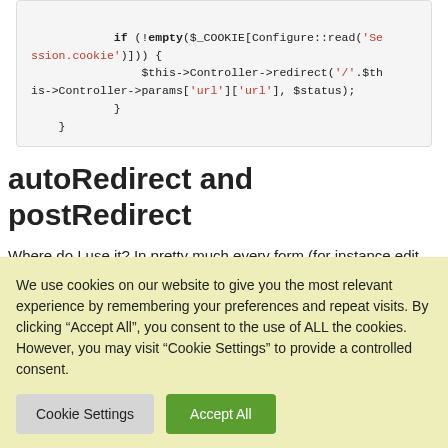if (!empty($_COOKIE[Configure::read('Session.cookie')])) {
                $this->Controller->redirect('/'.$this->Controller->params['url']['url'], $status);
            }
    }
autoRedirect and postRedirect
Where do I use it? In pretty much every form (for instance edit action):
We use cookies on our website to give you the most relevant experience by remembering your preferences and repeat visits. By clicking “Accept All”, you consent to the use of ALL the cookies. However, you may visit “Cookie Settings” to provide a controlled consent.